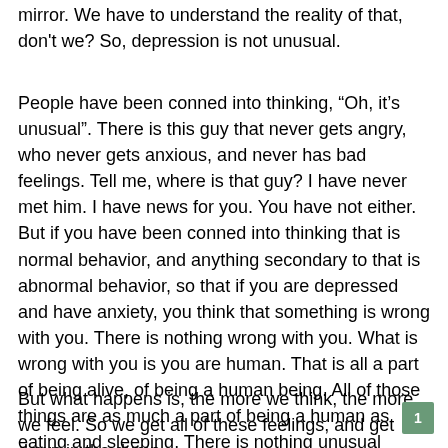mirror. We have to understand the reality of that, don't we? So, depression is not unusual.
People have been conned into thinking, “Oh, it’s unusual”. There is this guy that never gets angry, who never gets anxious, and never has bad feelings. Tell me, where is that guy? I have never met him. I have news for you. You have not either. But if you have been conned into thinking that is normal behavior, and anything secondary to that is abnormal behavior, so that if you are depressed and have anxiety, you think that something is wrong with you. There is nothing wrong with you. What is wrong with you is you are human. That is all a part of being alive, of being a human being. All of those things are as much a part of being a human as eating and sleeping. There is nothing unusual about it.
But what happens is, the more we think, the more we feel. So we get all of these feelings, and get down in the dump
1